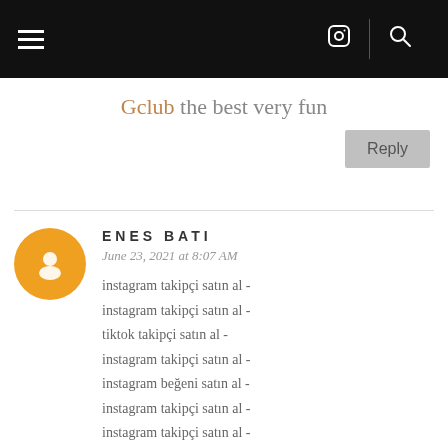≡ [instagram icon] [search icon]
Gclub the best very fun
Reply
ENES BATI
June 23, 2021 at 8:07 AM
instagram takipçi satın al - instagram takipçi satın al - tiktok takipçi satın al - instagram takipçi satın al - instagram beğeni satın al - instagram takipçi satın al - instagram takipçi satın al - instagram takipçi satın al - instagram takipçi satın al